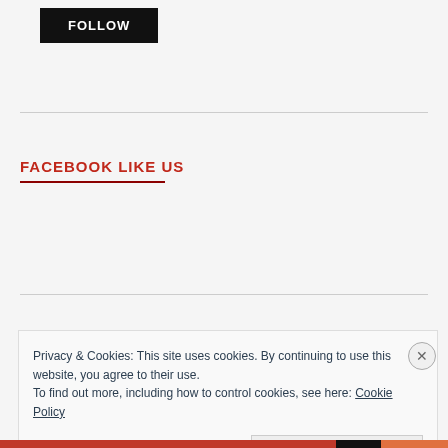[Figure (screenshot): Black FOLLOW button]
FACEBOOK LIKE US
Privacy & Cookies: This site uses cookies. By continuing to use this website, you agree to their use.
To find out more, including how to control cookies, see here: Cookie Policy
Close and accept